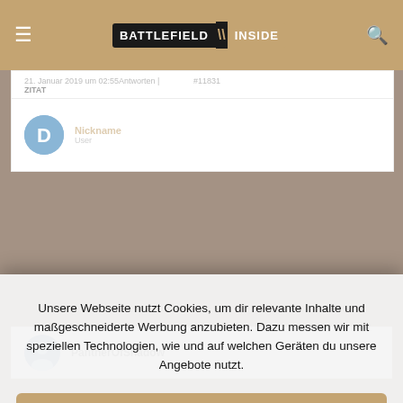BATTLEFIELD INSIDE
21. Januar 2019 um 02:55Antworten | #11831
ZITAT
[Figure (logo): Round blue avatar icon with stylized D symbol]
Unsere Webseite nutzt Cookies, um dir relevante Inhalte und maßgeschneiderte Werbung anzubieten. Dazu messen wir mit speziellen Technologien, wie und auf welchen Geräten du unsere Angebote nutzt.
Cookies akzeptieren
Einstellungen
PantherOfShadow